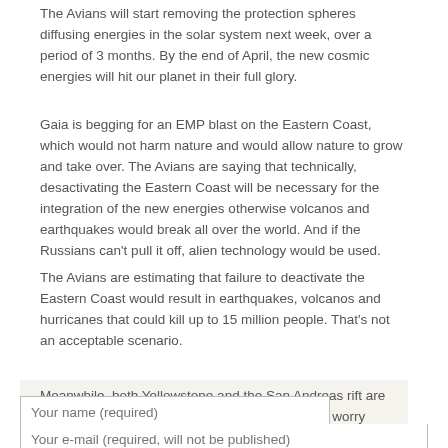The Avians will start removing the protection spheres diffusing energies in the solar system next week, over a period of 3 months. By the end of April, the new cosmic energies will hit our planet in their full glory.
Gaia is begging for an EMP blast on the Eastern Coast, which would not harm nature and would allow nature to grow and take over. The Avians are saying that technically, desactivating the Eastern Coast will be necessary for the integration of the new energies otherwise volcanos and earthquakes would break all over the world. And if the Russians can't pull it off, alien technology would be used.
The Avians are estimating that failure to deactivate the Eastern Coast would result in earthquakes, volcanos and hurricanes that could kill up to 15 million people. That's not an acceptable scenario.
Meanwhile, both Yellowstone and the San Andreas rift are covered by a protective veil so there's nothing to worry about from there.
Your name (required)
Your e-mail (required, will not be published)